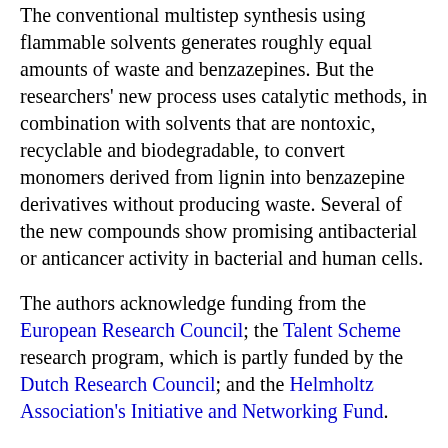The conventional multistep synthesis using flammable solvents generates roughly equal amounts of waste and benzazepines. But the researchers' new process uses catalytic methods, in combination with solvents that are nontoxic, recyclable and biodegradable, to convert monomers derived from lignin into benzazepine derivatives without producing waste. Several of the new compounds show promising antibacterial or anticancer activity in bacterial and human cells.
The authors acknowledge funding from the European Research Council; the Talent Scheme research program, which is partly funded by the Dutch Research Council; and the Helmholtz Association's Initiative and Networking Fund.
The article is available as an ACS AuthorChoice article here.
The American Chemical Society, the world's largest